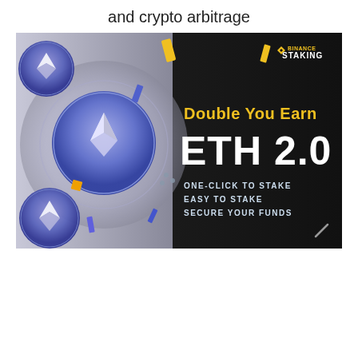and crypto arbitrage
[Figure (illustration): Binance Staking advertisement banner. Left half shows blue Ethereum coins on a grey/white circular background. Right half has a dark/black background with gold and white text reading: 'BINANCE STAKING', 'Double You Earn', 'ETH 2.0', 'ONE-CLICK TO STAKE', 'EASY TO STAKE', 'SECURE YOUR FUNDS'. Decorative colored geometric shapes (yellow, blue, purple) scattered around. A small slash/diagonal line appears at bottom right.]